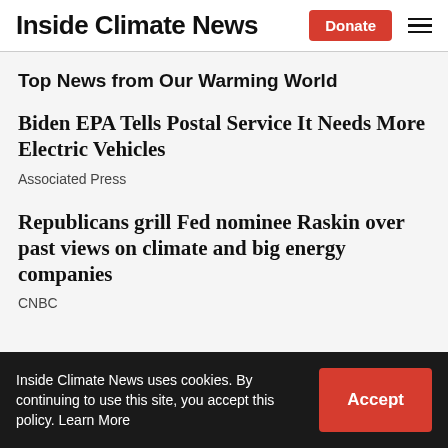Inside Climate News | Donate
Top News from Our Warming World
Biden EPA Tells Postal Service It Needs More Electric Vehicles
Associated Press
Republicans grill Fed nominee Raskin over past views on climate and big energy companies
CNBC
Inside Climate News uses cookies. By continuing to use this site, you accept this policy. Learn More